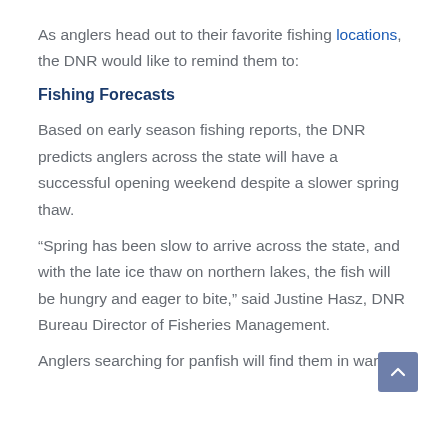As anglers head out to their favorite fishing locations, the DNR would like to remind them to:
Fishing Forecasts
Based on early season fishing reports, the DNR predicts anglers across the state will have a successful opening weekend despite a slower spring thaw.
“Spring has been slow to arrive across the state, and with the late ice thaw on northern lakes, the fish will be hungry and eager to bite,” said Justine Hasz, DNR Bureau Director of Fisheries Management.
Anglers searching for panfish will find them in warm,